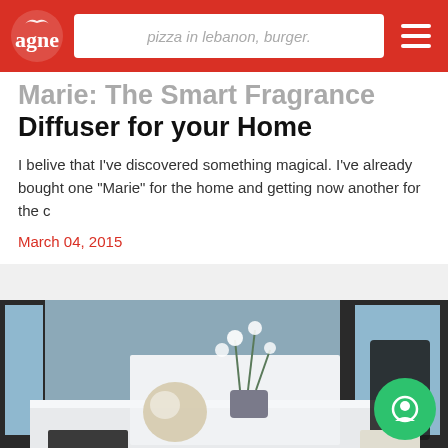pizza in lebanon, burger.
Marie: The Smart Fragrance Diffuser for your Home
I belive that I've discovered something magical. I've already bought one "Marie" for the home and getting now another for the c
March 04, 2015
[Figure (photo): Interior kitchen/living space with white surfaces, a glowing round lamp, potted orchid plants, and dark window frames in the background]
APPLIANCES
Planika: Intelligent Fire for your Home and Kitchen